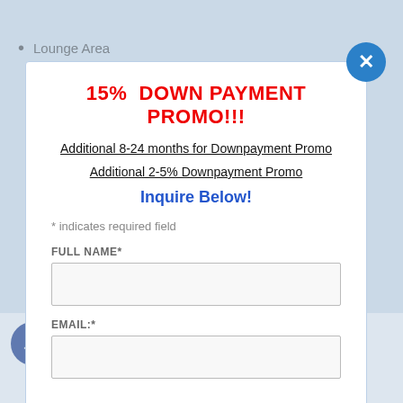Lounge Area
15%  DOWN PAYMENT PROMO!!!
Additional 8-24 months for Downpayment Promo
Additional 2-5% Downpayment Promo
Inquire Below!
* indicates required field
FULL NAME*
EMAIL:*
R DIRECT BUYERS ONLY
3 (917) 844-3580 (Globe, Viber, WhatsApp)
+63 (917) 300-3307 (Smart)